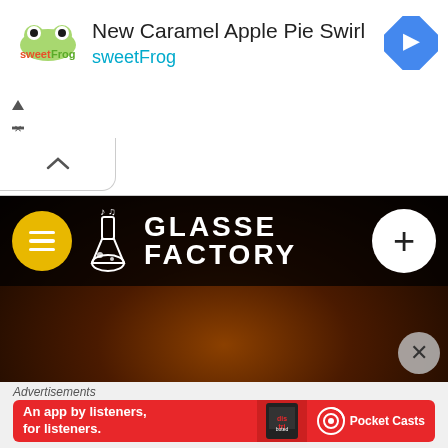[Figure (screenshot): sweetFrog advertisement banner with logo, text 'New Caramel Apple Pie Swirl' and 'sweetFrog', and navigation arrow icon]
[Figure (screenshot): Glasse Factory website banner with yellow hamburger menu button, laboratory flask logo, bold white text 'GLASSE FACTORY', and white plus button on black background with orange drummer concert photo]
Advertisements
[Figure (screenshot): Pocket Casts advertisement on red background: 'An app by listeners, for listeners.' with Pocket Casts logo]